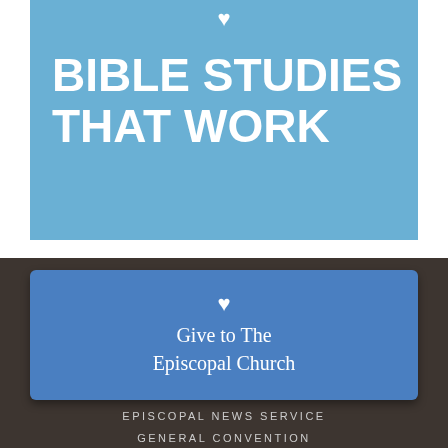[Figure (logo): Blue banner with white heart icon at top and bold white text reading BIBLE STUDIES THAT WORK]
BIBLE STUDIES THAT WORK
[Figure (infographic): Blue rounded rectangle button with white heart icon and text Give to The Episcopal Church on dark brown background]
Give to The Episcopal Church
EPISCOPAL NEWS SERVICE
GENERAL CONVENTION
CAREERS
CONTACT US